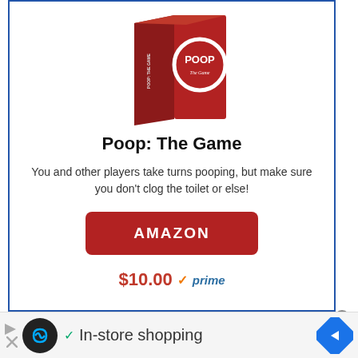[Figure (photo): Red card game box labeled 'POOP The Game' with a white circle on the front]
Poop: The Game
You and other players take turns pooping, but make sure you don't clog the toilet or else!
AMAZON
$10.00 ✓prime
✓ In-store shopping